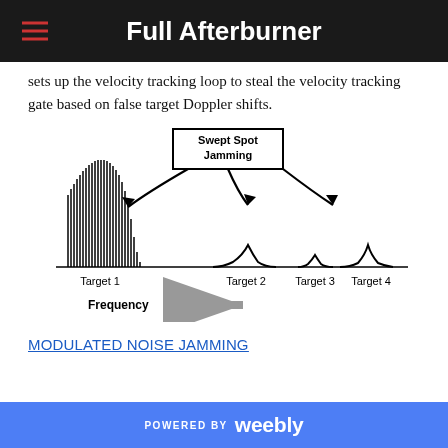Full Afterburner
sets up the velocity tracking loop to steal the velocity tracking gate based on false target Doppler shifts.
[Figure (infographic): Swept Spot Jamming diagram showing frequency spectrum of Target 1 (large dense spectral lines), with curved arrows pointing to Target 2, Target 3, and Target 4 (progressively smaller bell-curve shaped peaks). A box labeled 'Swept Spot Jamming' is shown above. Below is a horizontal frequency axis arrow labeled 'Frequency'.]
MODULATED NOISE JAMMING
POWERED BY weebly